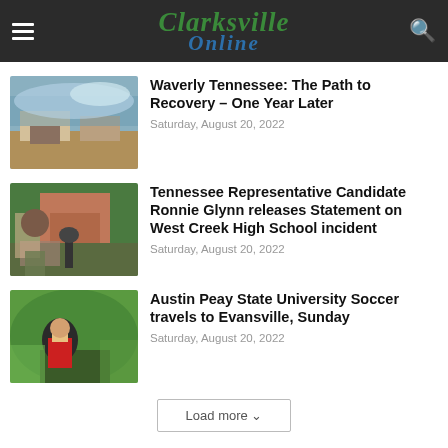Clarksville Online
Waverly Tennessee: The Path to Recovery – One Year Later
Saturday, August 20, 2022
Tennessee Representative Candidate Ronnie Glynn releases Statement on West Creek High School incident
Saturday, August 20, 2022
Austin Peay State University Soccer travels to Evansville, Sunday
Saturday, August 20, 2022
Load more